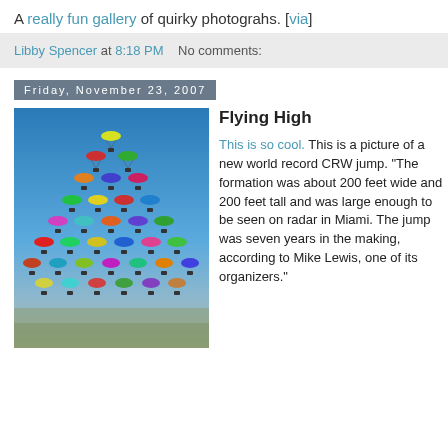A really fun gallery of quirky photograhs. [via]
Libby Spencer at 8:18 PM   No comments:
Friday, November 23, 2007
Flying High
[Figure (photo): Aerial photograph of a large skydiving CRW formation showing dozens of colorful parachutes arranged in a pyramid/diamond shape over a landscape, against a blue sky.]
This is so cool. This is a picture of a new world record CRW jump. "The formation was about 200 feet wide and 200 feet tall and was large enough to be seen on radar in Miami. The jump was seven years in the making, according to Mike Lewis, one of its organizers."